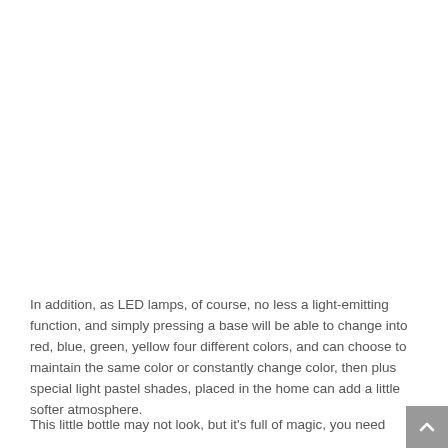In addition, as LED lamps, of course, no less a light-emitting function, and simply pressing a base will be able to change into red, blue, green, yellow four different colors, and can choose to maintain the same color or constantly change color, then plus special light pastel shades, placed in the home can add a little softer atmosphere.
This little bottle may not look, but it's full of magic, you need